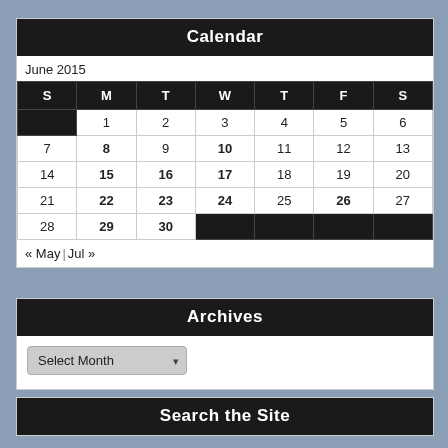Calendar
June 2015
| S | M | T | W | T | F | S |
| --- | --- | --- | --- | --- | --- | --- |
|  | 1 | 2 | 3 | 4 | 5 | 6 |
| 7 | 8 | 9 | 10 | 11 | 12 | 13 |
| 14 | 15 | 16 | 17 | 18 | 19 | 20 |
| 21 | 22 | 23 | 24 | 25 | 26 | 27 |
| 28 | 29 | 30 |  |  |  |  |
« May | Jul »
Archives
Select Month
Search the Site